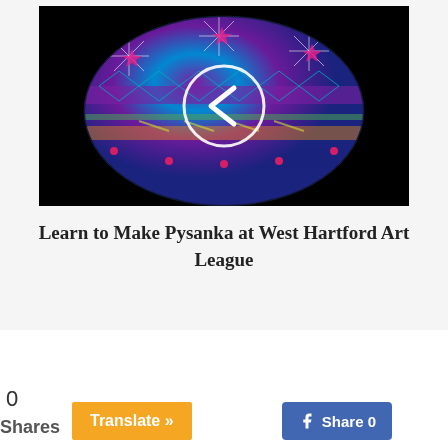[Figure (photo): A decorative Pysanka (Ukrainian Easter egg) with intricate geometric patterns in blue, purple, pink, and gold on a black background. A white circle with a left-pointing chevron arrow overlay is centered on the image.]
Learn to Make Pysanka at West Hartford Art League
0
Shares
Translate »
Share 0